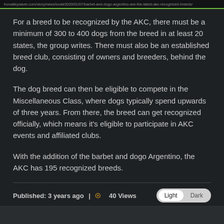foxvalleysaver.com/story/news/local/2020/01/07/barbet-and-dogo-argentino
For a breed to be recognized by the AKC, there must be a minimum of 300 to 400 dogs from the breed in at least 20 states, the group writes. There must also be an established breed club, consisting of owners and breeders, behind the dog.
The dog breed can then be eligible to compete in the Miscellaneous Class, where dogs typically spend upwards of three years. From there, the breed can get recognized officially, which means it's eligible to participate in AKC events and affiliated clubs.
With the addition of the barbet and dogo Argentino, the AKC has 195 recognized breeds.
Published: 3 years ago | 40 Views